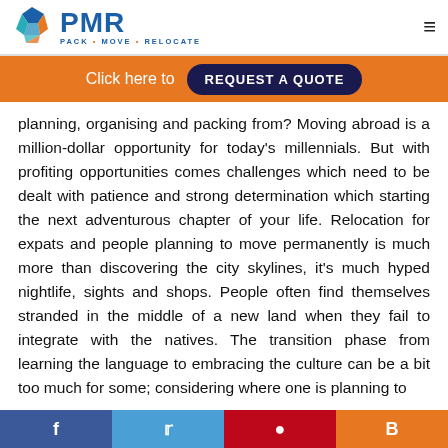PMR – Pack • Move • Relocate
Click here to REQUEST A QUOTE
planning, organising and packing from? Moving abroad is a million-dollar opportunity for today's millennials. But with profiting opportunities comes challenges which need to be dealt with patience and strong determination which starting the next adventurous chapter of your life. Relocation for expats and people planning to move permanently is much more than discovering the city skylines, it's much hyped nightlife, sights and shops. People often find themselves stranded in the middle of a new land when they fail to integrate with the natives. The transition phase from learning the language to embracing the culture can be a bit too much for some; considering where one is planning to
f  t  p  B